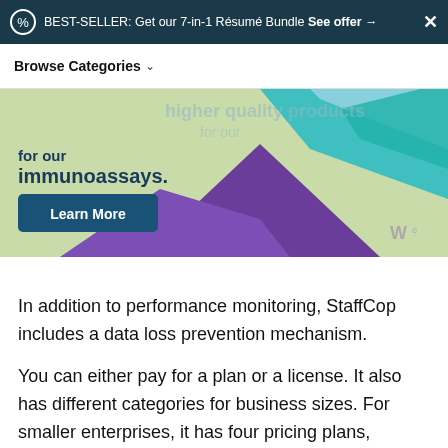BEST-SELLER: Get our 7-in-1 Résumé Bundle See offer →  ✕
Browse Categories
[Figure (illustration): Advertisement banner with colorful abstract mountain/landscape illustration in green, purple, and teal, with text 'higher quality products for our immunoassays.' and a 'Learn More' button. Wirecutter logo in bottom right.]
In addition to performance monitoring, StaffCop includes a data loss prevention mechanism.
You can either pay for a plan or a license. It also has different categories for business sizes. For smaller enterprises, it has four pricing plans, starting from $43 for one computer.